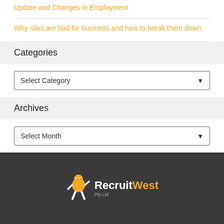Update and Changes in Employment
Why silos are bad for business and how to break them down
Categories
Select Category
Archives
Select Month
[Figure (logo): RecruitWest Pty Ltd logo with orange mascot figure and bold text]